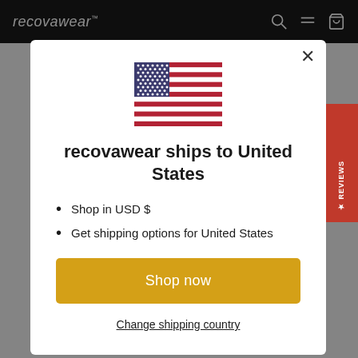recovawear
[Figure (screenshot): Website modal popup showing US flag, shipping information for United States, and Shop now button over a dimmed background]
recovawear ships to United States
Shop in USD $
Get shipping options for United States
Shop now
Change shipping country